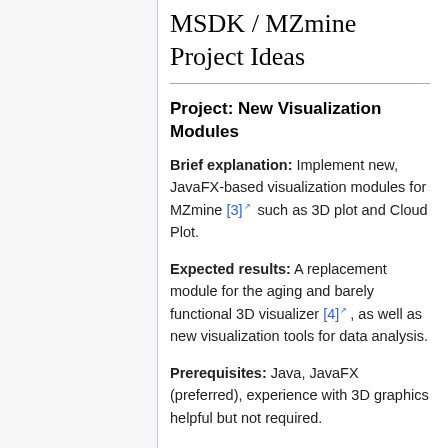MSDK / MZmine Project Ideas
Project: New Visualization Modules
Brief explanation: Implement new, JavaFX-based visualization modules for MZmine [3] such as 3D plot and Cloud Plot.
Expected results: A replacement module for the aging and barely functional 3D visualizer [4], as well as new visualization tools for data analysis.
Prerequisites: Java, JavaFX (preferred), experience with 3D graphics helpful but not required.
Mentor: Tomas Pluskal (plusik at gmail.com)